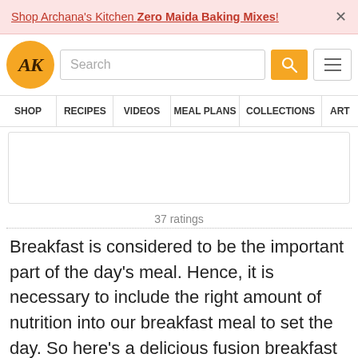Shop Archana's Kitchen Zero Maida Baking Mixes! ×
[Figure (logo): Archana's Kitchen logo - gold circle with AK initials]
37 ratings
Breakfast is considered to be the important part of the day's meal. Hence, it is necessary to include the right amount of nutrition into our breakfast meal to set the day. So here's a delicious fusion breakfast that will provide you a lot of energy to keep going through the day!